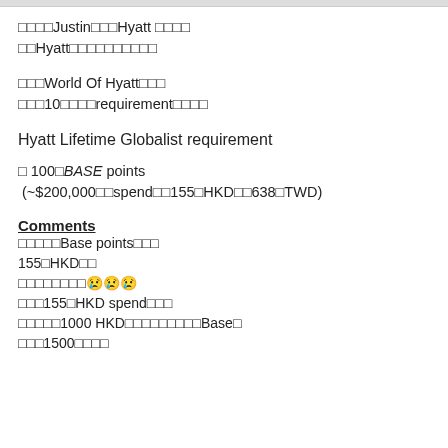□□□□Justin□□□Hyatt □□□□ □□Hyatt□□□□□□□□□□
□□□World Of Hyatt□□□ □□□10□□□□requirement□□□□
Hyatt Lifetime Globalist requirement
□ 100□BASE points  (~$200,000□□spend□□155□HKD□□638□TWD)
Comments
□□□□□Base points□□□ 155□HKD□□ □□□□□□□□😢😢😢 □□□155□HKD spend□□□ □□□□□1000 HKD□□□□□□□□□Base□ □□□1500□□□□